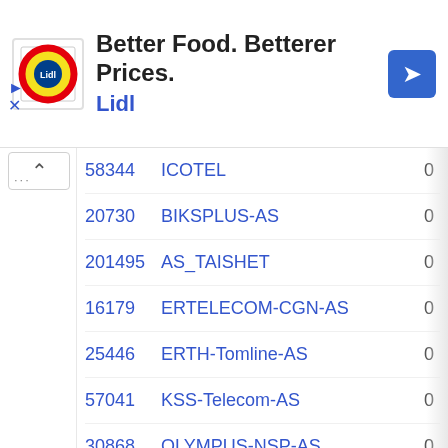[Figure (other): Lidl advertisement banner with logo, text 'Better Food. Betterer Prices.' and 'Lidl', navigation arrow icon on right, and play/close controls on left]
| ASN | Name | Count |
| --- | --- | --- |
| 58344 | ICOTEL | 0 |
| 20730 | BIKSPLUS-AS | 0 |
| 201495 | AS_TAISHET | 0 |
| 16179 | ERTELECOM-CGN-AS | 0 |
| 25446 | ERTH-Tomline-AS | 0 |
| 57041 | KSS-Telecom-AS | 0 |
| 30868 | OLYMPUS-NSP-AS | 0 |
| 47659 | INTERTEL-AS | 0 |
| 47151 | SMARTCOM-AS | 0 |
| 44905 | SKV-AS | 0 |